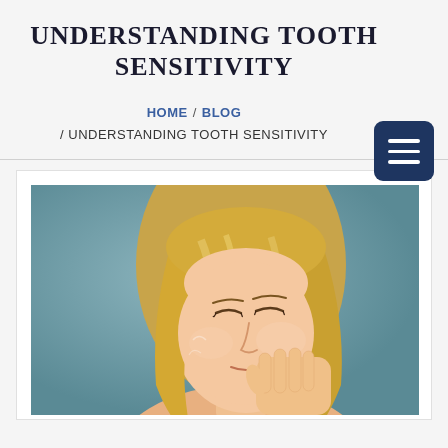UNDERSTANDING TOOTH SENSITIVITY
HOME / BLOG / UNDERSTANDING TOOTH SENSITIVITY
[Figure (photo): Woman with long blonde hair holding her hand to her cheek in pain, eyes closed, against a teal/blue-grey background — illustrating tooth sensitivity or dental pain.]